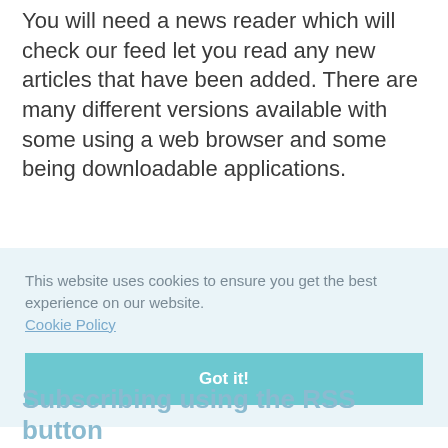You will need a news reader which will check our feed let you read any new articles that have been added. There are many different versions available with some using a web browser and some being downloadable applications.
This website uses cookies to ensure you get the best experience on our website. Cookie Policy
Got it!
Subscribing using the RSS button